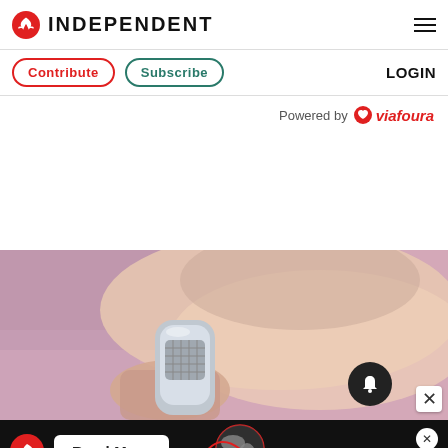INDEPENDENT
Contribute   Subscribe   LOGIN
Powered by viafoura
[Figure (photo): Close-up photo of a person's neck and chin area with a hand holding an IPL laser hair removal device against the skin. The background shows a purple/mauve fabric.]
[Figure (screenshot): Advertisement banner at the bottom: black background with Independent eagle logo, a white Read More button, and a globe graphic. An X close button in the top right.]